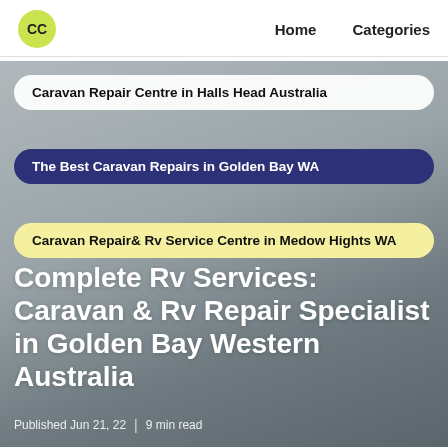CC  Home  Categories
Caravan Repair Centre in Halls Head Australia
The Best Caravan Repairs in Golden Bay WA
Caravan Repair& Rv Service Centre in Medow Hights WA
Complete Rv Services: Caravan & Rv Repair Specialist in Golden Bay Western Australia
Published Jun 21, 22  |  9 min read